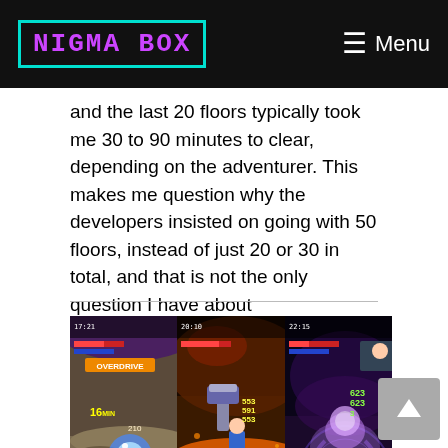NIGMA BOX | Menu
and the last 20 floors typically took me 30 to 90 minutes to clear, depending on the adventurer. This makes me question why the developers insisted on going with 50 floors, instead of just 20 or 30 in total, and that is not the only question I have about Kaleidoscape's structure...
[Figure (screenshot): Three side-by-side mobile game screenshots showing different combat scenes from a dungeon RPG game, with various UI elements, damage numbers, and character sprites visible.]